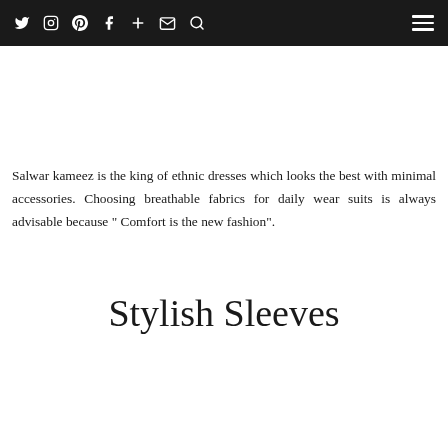Twitter Instagram Pinterest Facebook + Mail Search [hamburger menu]
Salwar kameez is the king of ethnic dresses which looks the best with minimal accessories. Choosing breathable fabrics for daily wear suits is always advisable because “ Comfort is the new fashion”.
Stylish Sleeves